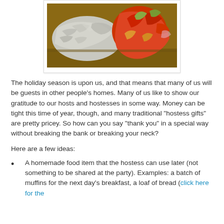[Figure (photo): A photo of food covered in aluminum foil in a baking dish with colorful vegetables visible]
The holiday season is upon us, and that means that many of us will be guests in other people's homes. Many of us like to show our gratitude to our hosts and hostesses in some way. Money can be tight this time of year, though, and many traditional "hostess gifts" are pretty pricey. So how can you say "thank you" in a special way without breaking the bank or breaking your neck?
Here are a few ideas:
A homemade food item that the hostess can use later (not something to be shared at the party). Examples: a batch of muffins for the next day's breakfast, a loaf of bread (click here for the